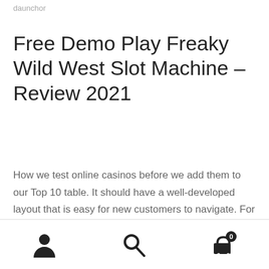daunchor
Free Demo Play Freaky Wild West Slot Machine – Review 2021
How we test online casinos before we add them to our Top 10 table. It should have a well-developed layout that is easy for new customers to navigate. For most people, gambling is fun. Online sweepstakes games are legal in the Empire State because there s no consideration element. Many of these casinos allow players make use of
navigation icons: user, search, cart (0)